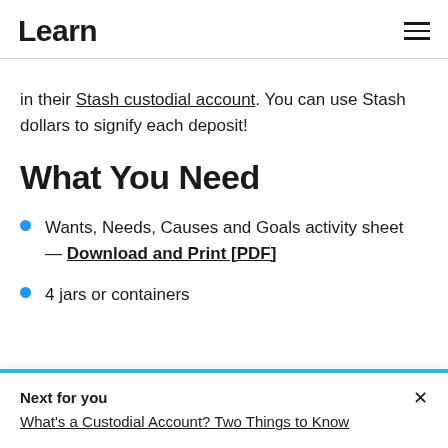Learn
in their Stash custodial account. You can use Stash dollars to signify each deposit!
What You Need
Wants, Needs, Causes and Goals activity sheet — Download and Print [PDF]
4 jars or containers
Next for you — What's a Custodial Account? Two Things to Know